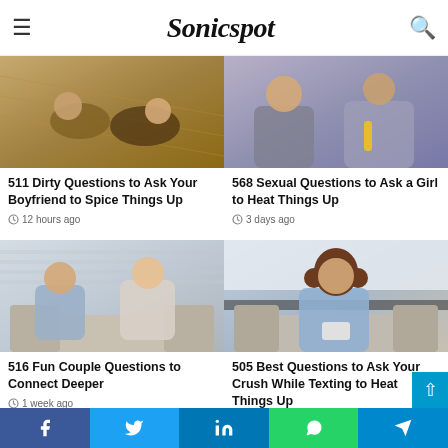Sonicspot
[Figure (photo): Couple lying in hay field outdoors]
511 Dirty Questions to Ask Your Boyfriend to Spice Things Up
12 hours ago
[Figure (photo): Two people sitting together, one holding a yellow object]
568 Sexual Questions to Ask a Girl to Heat Things Up
3 days ago
[Figure (photo): Young couple sitting on sofa laughing together]
516 Fun Couple Questions to Connect Deeper
1 week ago
[Figure (photo): Young woman with curly hair sitting on sofa using phone, smiling]
505 Best Questions to Ask Your Crush While Texting to Heat Things Up
Facebook Twitter LinkedIn WhatsApp Telegram